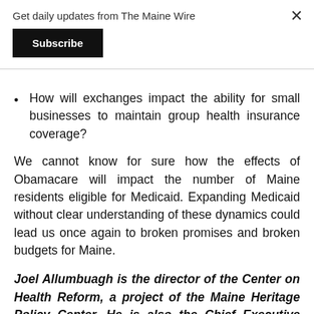Get daily updates from The Maine Wire
Subscribe
How will exchanges impact the ability for small businesses to maintain group health insurance coverage?
We cannot know for sure how the effects of Obamacare will impact the number of Maine residents eligible for Medicaid. Expanding Medicaid without clear understanding of these dynamics could lead us once again to broken promises and broken budgets for Maine.
Joel Allumbuagh is the director of the Center on Health Reform, a project of the Maine Heritage Policy Center. He is also the Chief Executive Officer of National ...